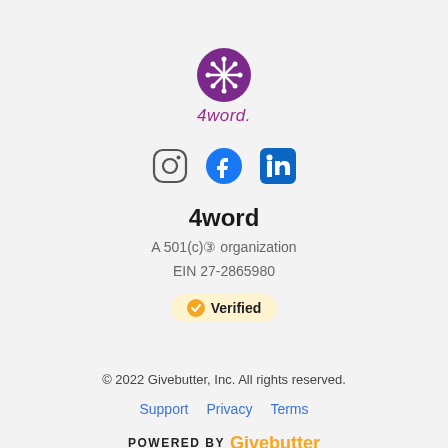[Figure (logo): 4word organization logo: purple circle with snowflake/asterisk pattern, with '4word.' text below in purple italic]
[Figure (infographic): Social media icons: Instagram (circle outline with camera), Facebook (blue circle with f), LinkedIn (blue square with 'in')]
4word
A 501(c)③ organization
EIN 27-2865980
[Figure (infographic): Verified badge: gold circle with checkmark, text 'Verified' on light yellow rounded pill background]
© 2022 Givebutter, Inc. All rights reserved.
Support   Privacy   Terms
POWERED BY Givebutter